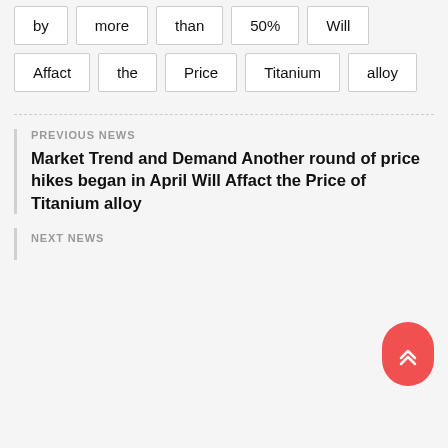by more than 50% Will Affact the Price Titanium alloy
PREVIOUS NEWS
Market Trend and Demand Another round of price hikes began in April Will Affact the Price of Titanium alloy
NEXT NEWS